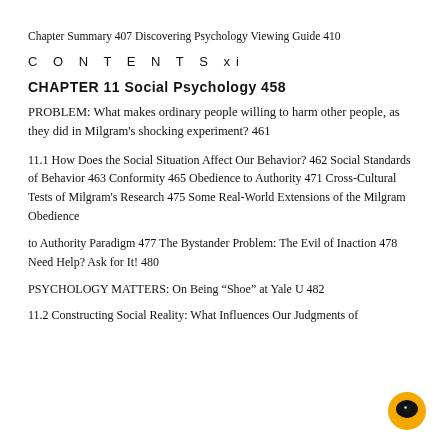Chapter Summary 407 Discovering Psychology Viewing Guide 410
CONTENTS xi
CHAPTER 11 Social Psychology 458
PROBLEM: What makes ordinary people willing to harm other people, as they did in Milgram’s shocking experiment? 461
11.1 How Does the Social Situation Affect Our Behavior? 462 Social Standards of Behavior 463 Conformity 465 Obedience to Authority 471 Cross-Cultural Tests of Milgram’s Research 475 Some Real-World Extensions of the Milgram Obedience
to Authority Paradigm 477 The Bystander Problem: The Evil of Inaction 478 Need Help? Ask for It! 480
PSYCHOLOGY MATTERS: On Being “Shoe” at Yale U 482
11.2 Constructing Social Reality: What Influences Our Judgments of